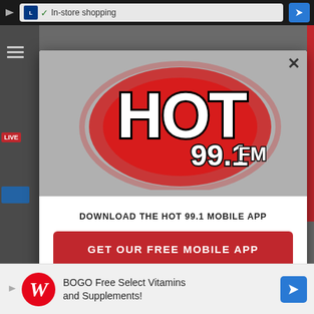[Figure (screenshot): Browser bar with Lidl icon, checkmark, In-store shopping text, and navigation arrow on dark background]
[Figure (logo): Hot 99.1 FM radio station logo with red oval glow background, white bold graffiti-style HOT text with black outline, 99.1 FM in stylized text]
DOWNLOAD THE HOT 99.1 MOBILE APP
GET OUR FREE MOBILE APP
Also listen on:  amazon alexa
[Figure (screenshot): Walgreens advertisement: BOGO Free Select Vitamins and Supplements with Walgreens W logo and navigation arrow]